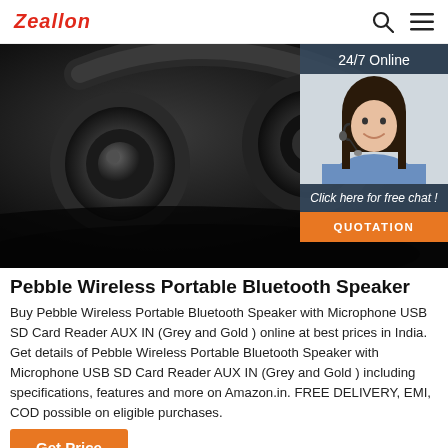Zeallon
[Figure (photo): Dark close-up photo of Pebble Wireless Portable Bluetooth Speaker with a 24/7 Online chat widget overlay on the right side, featuring a customer service representative and a QUOTATION button]
Pebble Wireless Portable Bluetooth Speaker
Buy Pebble Wireless Portable Bluetooth Speaker with Microphone USB SD Card Reader AUX IN (Grey and Gold ) online at best prices in India. Get details of Pebble Wireless Portable Bluetooth Speaker with Microphone USB SD Card Reader AUX IN (Grey and Gold ) including specifications, features and more on Amazon.in. FREE DELIVERY, EMI, COD possible on eligible purchases.
Get Price